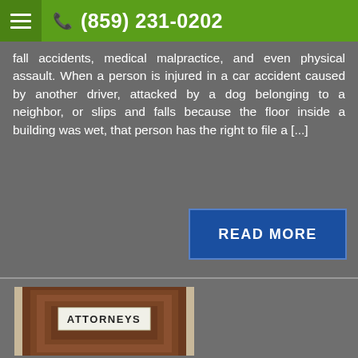(859) 231-0202
fall accidents, medical malpractice, and even physical assault. When a person is injured in a car accident caused by another driver, attacked by a dog belonging to a neighbor, or slips and falls because the floor inside a building was wet, that person has the right to file a [...]
READ MORE
[Figure (photo): A wooden door with a frosted glass panel showing the word ATTORNEYS, viewed through a doorframe.]